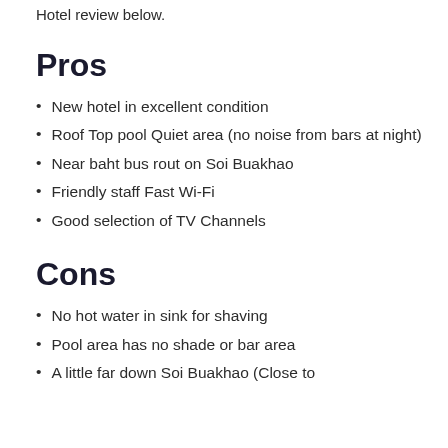Hotel review below.
Pros
New hotel in excellent condition
Roof Top pool Quiet area (no noise from bars at night)
Near baht bus rout on Soi Buakhao
Friendly staff Fast Wi-Fi
Good selection of TV Channels
Cons
No hot water in sink for shaving
Pool area has no shade or bar area
A little far down Soi Buakhao (Close to